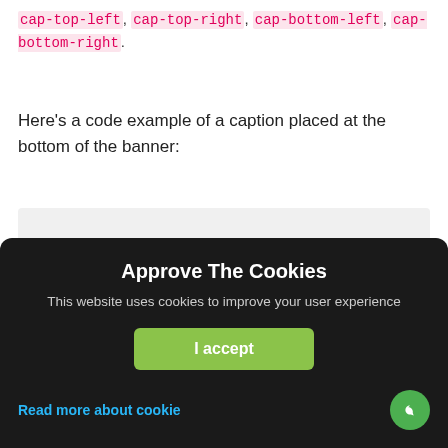cap-top-left, cap-top-right, cap-bottom-left, cap-bottom-right.
Here's a code example of a caption placed at the bottom of the banner:
[Figure (screenshot): Code block showing HTML for a banner with caption: <div class="ban ban-effect-1 ban-caption-fade-out"> with img and div cap-bottom elements]
[Figure (screenshot): Cookie consent overlay with title 'Approve The Cookies', description text, green 'I accept' button, 'Read more about cookie' link, and green chat icon]